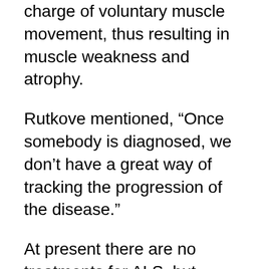charge of voluntary muscle movement, thus resulting in muscle weakness and atrophy.
Rutkove mentioned, “Once somebody is diagnosed, we don’t have a great way of tracking the progression of the disease.”
At present there are no treatments for ALS, but precise measurement of progression of muscle loss may perhaps assist researchers to assess the efficiency of drugs in clinical trials. Gauging muscle loss may also assist